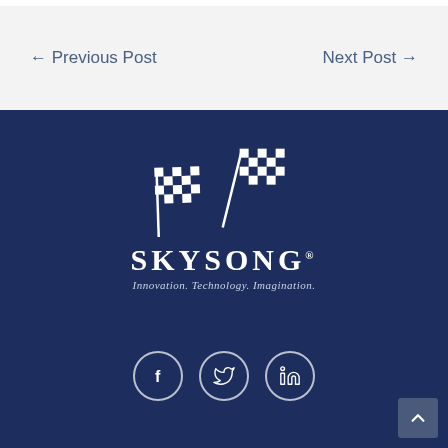← Previous Post
Next Post →
[Figure (logo): SkySong logo with two checkered flags above the text SKYSONG and tagline Innovation. Technology. Imagination.]
[Figure (other): Social media icons: Facebook, Twitter, LinkedIn in white circles on dark navy background]
SkySong - Innovation. Technology. Imagination.